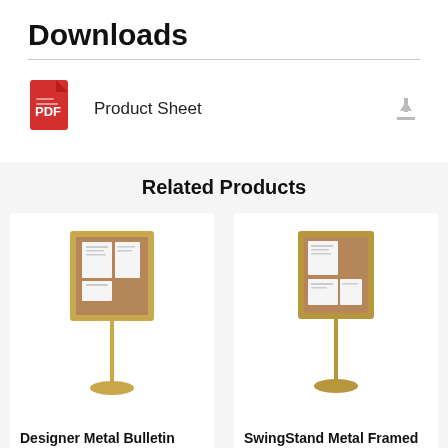Downloads
Product Sheet
Related Products
[Figure (photo): Gold-framed cork bulletin board on a metal pole with round gold base (2-sided stand)]
Designer Metal Bulletin Board SwingStands (2-Sided)
[Figure (photo): Gold-framed cork bulletin board on a metal pole with round gold base (single stand)]
SwingStand Metal Framed Designer Bulletin Board Stand